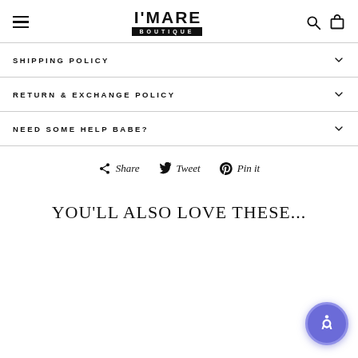I'MARE BOUTIQUE
SHIPPING POLICY
RETURN & EXCHANGE POLICY
NEED SOME HELP BABE?
Share  Tweet  Pin it
YOU'LL ALSO LOVE THESE...